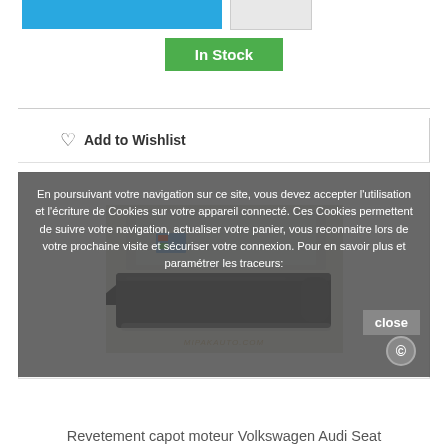[Figure (screenshot): Blue add-to-cart button and gray button at top]
In Stock
Add to Wishlist
[Figure (photo): Product photo of a black automotive hood lining/covering in plastic packaging, with watermark MIPAKAUTO.COM]
En poursuivant votre navigation sur ce site, vous devez accepter l'utilisation et l'écriture de Cookies sur votre appareil connecté. Ces Cookies permettent de suivre votre navigation, actualiser votre panier, vous reconnaitre lors de votre prochaine visite et sécuriser votre connexion. Pour en savoir plus et paramétrer les traceurs:
close
Revetement capot moteur Volkswagen Audi Seat